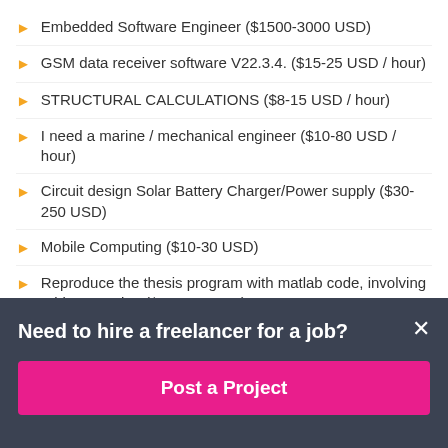Embedded Software Engineer ($1500-3000 USD)
GSM data receiver software V22.3.4. ($15-25 USD / hour)
STRUCTURAL CALCULATIONS ($8-15 USD / hour)
I need a marine / mechanical engineer ($10-80 USD / hour)
Circuit design Solar Battery Charger/Power supply ($30-250 USD)
Mobile Computing ($10-30 USD)
Reproduce the thesis program with matlab code, involving grid generation ($30-250 USD)
Chocolate machine – 2 (£20-250 GBP)
Need to hire a freelancer for a job?
Post a Project